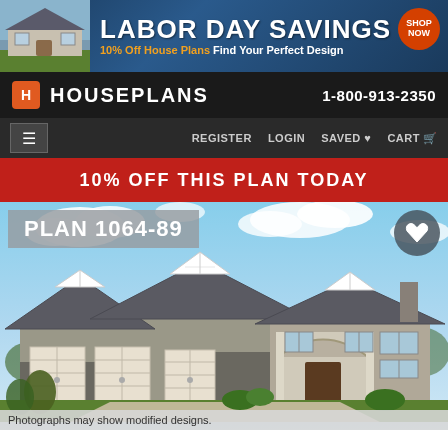[Figure (screenshot): Labor Day Savings banner: 10% Off House Plans Find Your Perfect Design, with SHOP NOW button]
HOUSEPLANS   1-800-913-2350
≡   REGISTER   LOGIN   SAVED ♥   CART
10% OFF THIS PLAN TODAY
[Figure (photo): PLAN 1064-89 - Large craftsman style house with three-car garage, stone and siding exterior, arched entry, blue sky background]
Photographs may show modified designs.